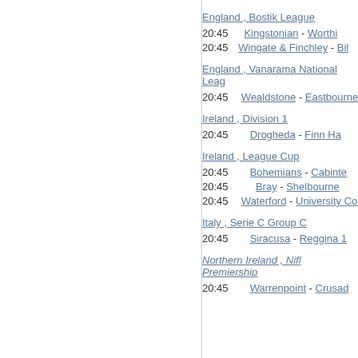England , Bostik League
20:45   Kingstonian - Worthi...
20:45   Wingate & Finchley - Bil...
England , Vanarama National Leag...
20:45   Wealdstone - Eastbourne ...
Ireland , Division 1
20:45   Drogheda - Finn Ha...
Ireland , League Cup
20:45   Bohemians - Cabinte...
20:45   Bray - Shelbourne...
20:45   Waterford - University Coll...
Italy , Serie C Group C
20:45   Siracusa - Reggina 1...
Northern Ireland , Nifl Premiership...
20:45   Warrenpoint - Crusad...